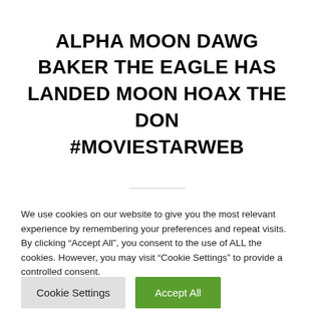ALPHA MOON DAWG BAKER THE EAGLE HAS LANDED MOON HOAX THE DON #MOVIESTARWEB
We use cookies on our website to give you the most relevant experience by remembering your preferences and repeat visits. By clicking “Accept All”, you consent to the use of ALL the cookies. However, you may visit "Cookie Settings" to provide a controlled consent.
Cookie Settings | Accept All